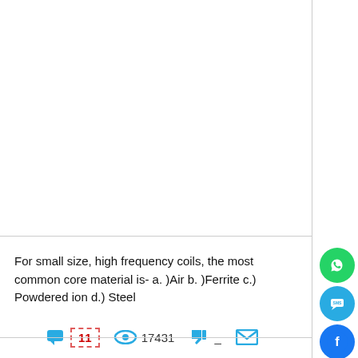For small size, high frequency coils, the most common core material is- a. )Air b. )Ferrite c.) Powdered ion d.) Steel
[Figure (other): Social media sharing buttons on right sidebar: WhatsApp (green), SMS (blue), Facebook (blue), Twitter (light blue), Google+ (red), LinkedIn (dark blue), Email (green)]